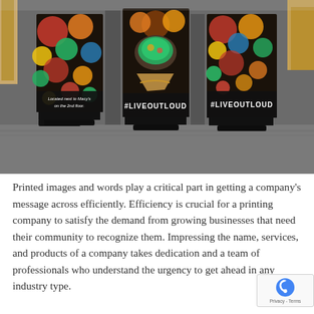[Figure (photo): Three tall standing banner displays photographed on a grey carpet floor. The banners feature colorful food imagery (drinks, bowls, limes, peppers, guacamole). Left banner reads 'Located next to Macy's on the 2nd floor.' Center and right banners both read '#LIVEOUTLOUD' in bold white text on black backgrounds.]
Printed images and words play a critical part in getting a company's message across efficiently. Efficiency is crucial for a printing company to satisfy the demand from growing businesses that need their community to recognize them. Impressing the name, services, and products of a company takes dedication and a team of professionals who understand the urgency to get ahead in any industry type.